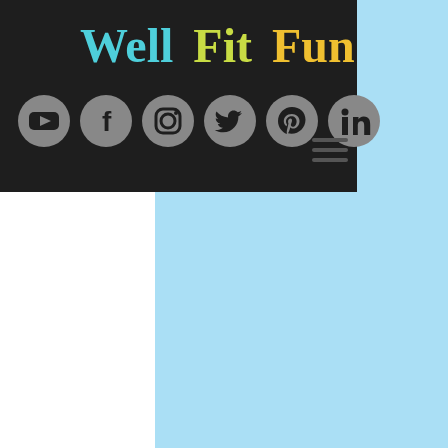[Figure (logo): Well Fit Fun logo with three-color text: 'Well' in teal/cyan, 'Fit' in yellow-green, 'Fun' in yellow, on a dark background header bar with social media icons (YouTube, Facebook, Instagram, Twitter, Pinterest, LinkedIn) and a hamburger menu icon]
[Figure (illustration): Light blue background occupying the right and lower portion of the page, leaving white space on the left below the header]